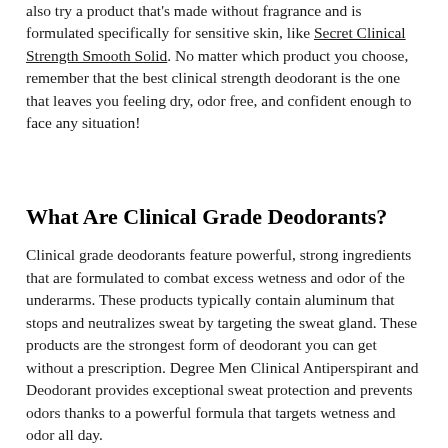also try a product that's made without fragrance and is formulated specifically for sensitive skin, like Secret Clinical Strength Smooth Solid. No matter which product you choose, remember that the best clinical strength deodorant is the one that leaves you feeling dry, odor free, and confident enough to face any situation!
What Are Clinical Grade Deodorants?
Clinical grade deodorants feature powerful, strong ingredients that are formulated to combat excess wetness and odor of the underarms. These products typically contain aluminum that stops and neutralizes sweat by targeting the sweat gland. These products are the strongest form of deodorant you can get without a prescription. Degree Men Clinical Antiperspirant and Deodorant provides exceptional sweat protection and prevents odors thanks to a powerful formula that targets wetness and odor all day.
What Makes a Deodorant Clinical Strength?